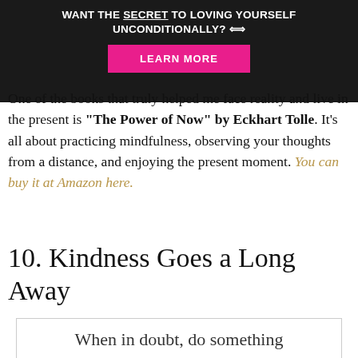WANT THE SECRET TO LOVING YOURSELF UNCONDITIONALLY? 🡺
[Figure (other): Pink 'LEARN MORE' button on dark background]
One of the books that truly helped me face reality and live in the present is "The Power of Now" by Eckhart Tolle. It's all about practicing mindfulness, observing your thoughts from a distance, and enjoying the present moment. You can buy it at Amazon here.
10. Kindness Goes a Long Away
When in doubt, do something